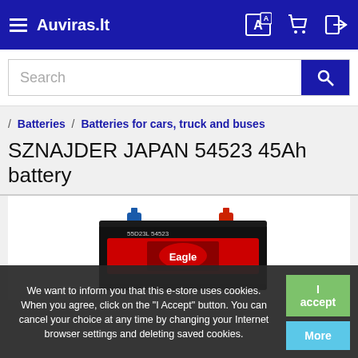Auviras.lt
Search
/ Batteries / Batteries for cars, truck and buses
SZNAJDER JAPAN 54523 45Ah battery
[Figure (photo): Photo of SZNAJDER JAPAN 54523 45Ah car battery, black casing with red label and blue/red terminals]
We want to inform you that this e-store uses cookies. When you agree, click on the "I Accept" button. You can cancel your choice at any time by changing your Internet browser settings and deleting saved cookies.